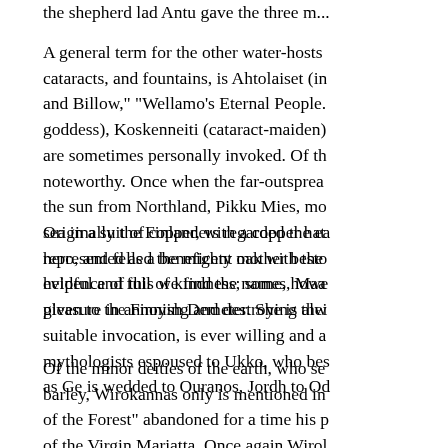the shepherd lad Antu gave the three m...
A general term for the other water-hosts cataracts, and fountains, is Ahtolaiset (in and Billow," "Wellamo's Eternal People. goddess), Koskenneiti (cataract-maiden) are sometimes personally invoked. Of th noteworthy. Once when the far-outsprea the sun from Northland, Pikku Mies, mo sea in a suit of copper, with a copper hat hero, and felled the mighty oak with the helpful and full of kindness; some, howe pleasure in annoying and destroying thei
Originally the Finlanders regarded the ea represented as a beneficent mother besto evidence of this we find the names, Maa given to the Finnish Demeter. She is alw suitable invocation, is ever willing and a mythologists espoused to Ukko, who bes as Ge is wedded to Ouranos, Jordh to Od
Of the minor deities of the earth, who se barley, Wirokannas only is mentioned in of the Forest" abandoned for a time his p of the Virgin Mariatta. Once again Wirol